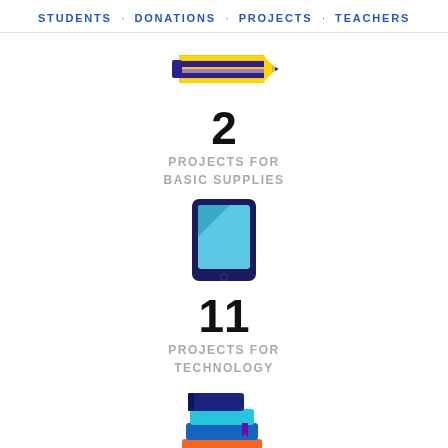STUDENTS · DONATIONS · PROJECTS · TEACHERS
[Figure (illustration): Pencil icon with yellow body, purple/dark blue stripes and tip]
2
PROJECTS FOR BASIC SUPPLIES
[Figure (illustration): Tablet/iPad icon with dark navy border and light blue screen with triangle corner]
11
PROJECTS FOR TECHNOLOGY
[Figure (illustration): Stack of books icon in blue, orange, and teal colors with a purple bookmark]